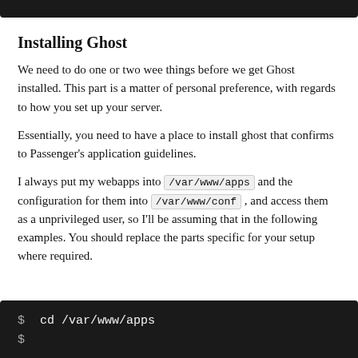Installing Ghost
We need to do one or two wee things before we get Ghost installed. This part is a matter of personal preference, with regards to how you set up your server.
Essentially, you need to have a place to install ghost that confirms to Passenger's application guidelines.
I always put my webapps into /var/www/apps and the configuration for them into /var/www/conf , and access them as a unprivileged user, so I'll be assuming that in the following examples. You should replace the parts specific for your setup where required.
[Figure (screenshot): Dark terminal code block showing: $ cd /var/www/apps and a second partial line starting with $]